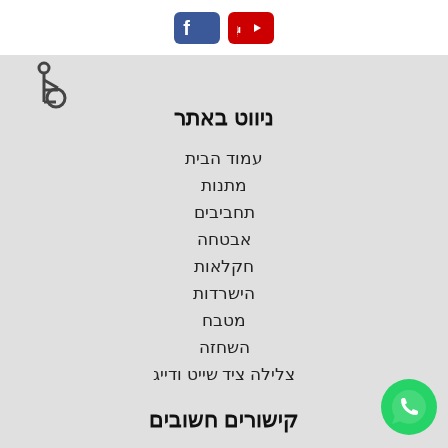[Figure (logo): YouTube and Facebook social media icons in top white bar]
[Figure (illustration): Wheelchair accessibility icon on left side]
ניווט באתר
עמוד הבית
מתנות
תחביבים
אבטחה
חקלאות
הישרדות
מטבח
השחזה
צלילה ציד שייט ודייג
קישורים חשובים
[Figure (logo): WhatsApp logo icon at bottom right]